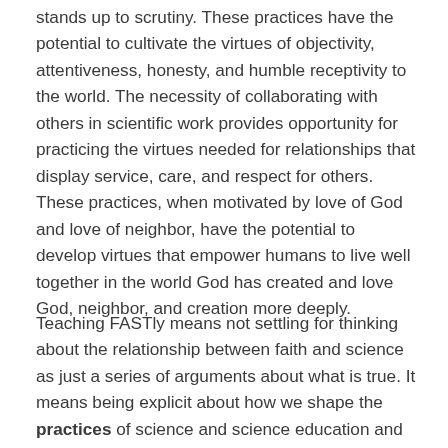stands up to scrutiny. These practices have the potential to cultivate the virtues of objectivity, attentiveness, honesty, and humble receptivity to the world. The necessity of collaborating with others in scientific work provides opportunity for practicing the virtues needed for relationships that display service, care, and respect for others. These practices, when motivated by love of God and love of neighbor, have the potential to develop virtues that empower humans to live well together in the world God has created and love God, neighbor, and creation more deeply.
Teaching FASTly means not settling for thinking about the relationship between faith and science as just a series of arguments about what is true. It means being explicit about how we shape the practices of science and science education and how they shape us, about the virtues that science education can cultivate, about